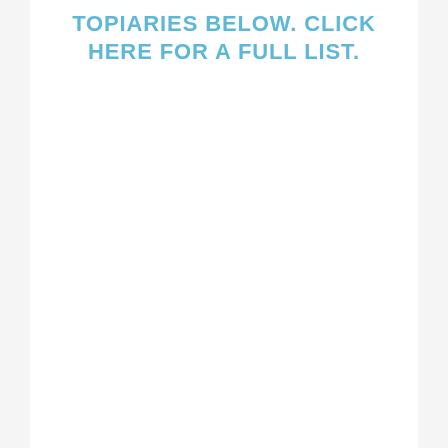TOPIARIES BELOW. CLICK HERE FOR A FULL LIST.